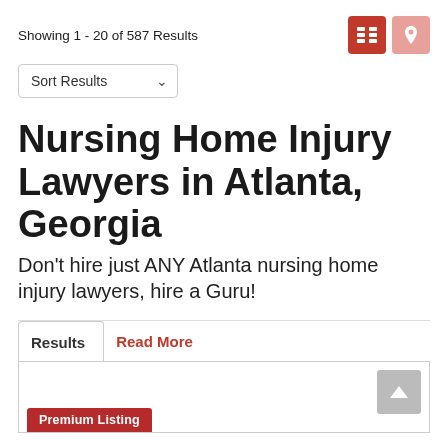Showing 1 - 20 of 587 Results
Nursing Home Injury Lawyers in Atlanta, Georgia
Don't hire just ANY Atlanta nursing home injury lawyers, hire a Guru!
Results
Read More
Premium Listing